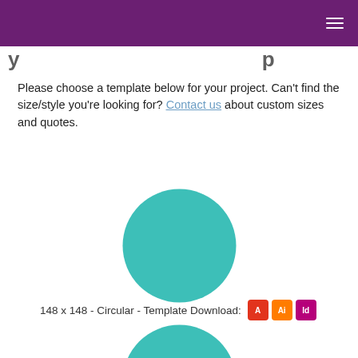Please choose a template below for your project. Can't find the size/style you're looking for? Contact us about custom sizes and quotes.
[Figure (illustration): Teal/turquoise filled circle representing a circular sticker template, approximately 148x148 size]
148 x 148 - Circular - Template Download: [Acrobat] [Illustrator] [InDesign]
[Figure (illustration): Teal/turquoise filled circle representing a circular sticker template, approximately 203x203 size]
203 x 203 - Circular - Template Download: [Acrobat] [Illustrator] [InDesign]